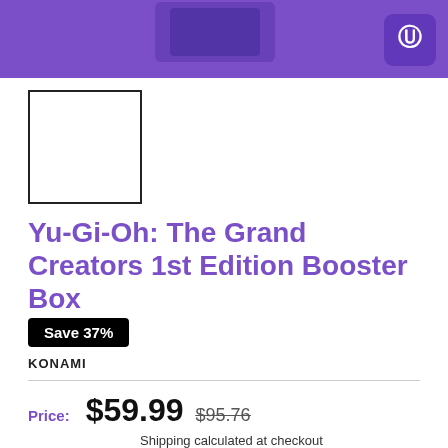[Figure (photo): Purple banner background with a product image (card pack box) and a circular logo icon in the top right corner]
[Figure (photo): Small white thumbnail/image box with black border showing a product thumbnail]
Yu-Gi-Oh: The Grand Creators 1st Edition Booster Box
Save 37%
KONAMI
Price: $59.99 $95.76 Shipping calculated at checkout
Stock: Sold out